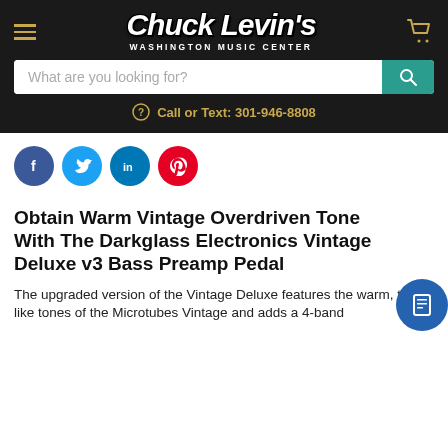Chuck Levin's Washington Music Center
What are you looking for?
Call or Text: 301-946-8808
[Figure (illustration): Social media icons: Facebook (blue circle with f), Twitter (light blue circle with bird), LinkedIn (teal circle with in), Pinterest (red circle with P)]
Obtain Warm Vintage Overdriven Tone With The Darkglass Electronics Vintage Deluxe v3 Bass Preamp Pedal
The upgraded version of the Vintage Deluxe features the warm, tube-like tones of the Microtubes Vintage and adds a 4-band